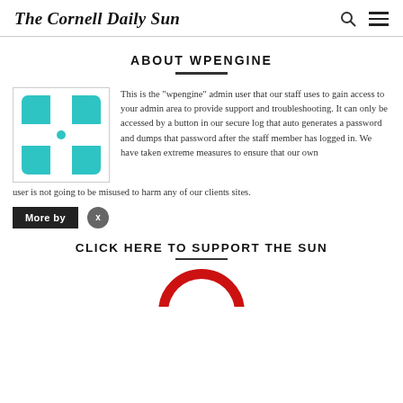The Cornell Daily Sun
ABOUT WPENGINE
[Figure (logo): WPEngine logo — teal/cyan geometric puzzle-like icon on white background with border]
This is the "wpengine" admin user that our staff uses to gain access to your admin area to provide support and troubleshooting. It can only be accessed by a button in our secure log that auto generates a password and dumps that password after the staff member has logged in. We have taken extreme measures to ensure that our own user is not going to be misused to harm any of our clients sites.
More by
CLICK HERE TO SUPPORT THE SUN
[Figure (logo): Partial circular support badge with red border and white text reading UPPO (visible portion of SUPPORT)]